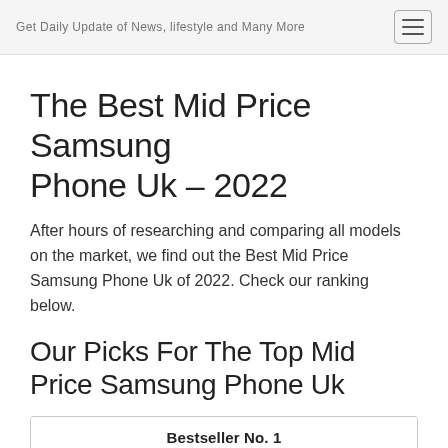Get Daily Update of News, lifestyle and Many More
The Best Mid Price Samsung Phone Uk – 2022
After hours of researching and comparing all models on the market, we find out the Best Mid Price Samsung Phone Uk of 2022. Check our ranking below.
Our Picks For The Top Mid Price Samsung Phone Uk
Bestseller No. 1
[Figure (photo): A Samsung phone shown upright, dark colored, partially visible at bottom of page]